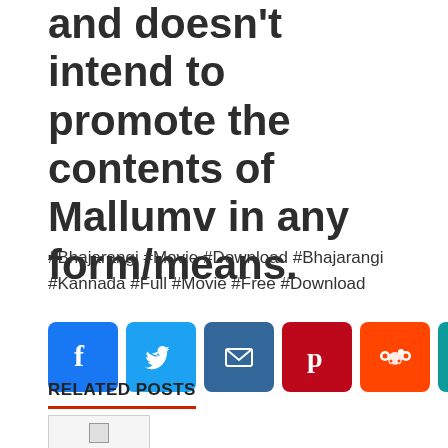and doesn't intend to promote the contents of Mallumv in any form/means.
#Bhajarangi #Movie #Download #Bhajarangi #Kannada #Full #Movie #Free #Download
[Figure (infographic): Social media share buttons: Facebook (blue), Twitter (light blue), Email (dark blue), Pinterest (red), Reddit (orange-red), LinkedIn (teal), WhatsApp (green), Copy link (blue), More (blue)]
RELATED POSTS